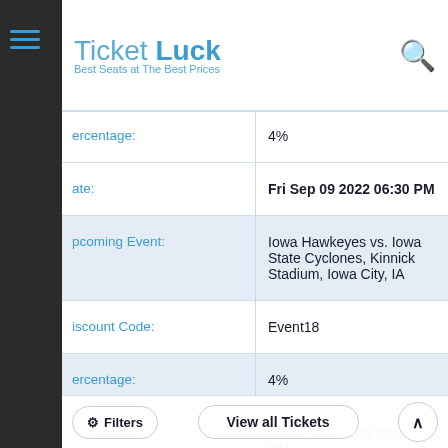[Figure (logo): Ticket Luck logo with text 'Best Seats at The Best Prices']
| Field | Value |
| --- | --- |
| ercentage: | 4% |
| ate: | Fri Sep 09 2022 06:30 PM |
| pcoming Event: | Iowa Hawkeyes vs. Iowa State Cyclones, Kinnick Stadium, Iowa City, IA |
| iscount Code: | Event18 |
| ercentage: | 4% |
| ate: | Sat Sep 10 2022 03:00 PM |
| pcoming Event: | Iowa Hawkeyes vs. Nevada |
Filters | View all Tickets